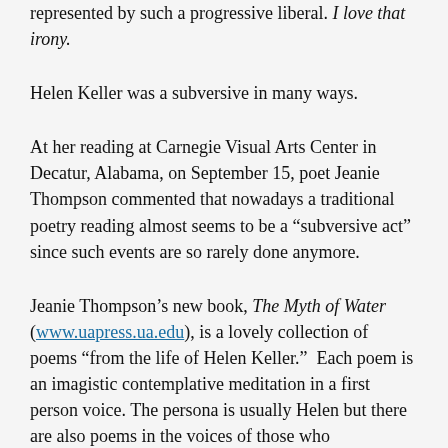represented by such a progressive liberal. I love that irony.
Helen Keller was a subversive in many ways.
At her reading at Carnegie Visual Arts Center in Decatur, Alabama, on September 15, poet Jeanie Thompson commented that nowadays a traditional poetry reading almost seems to be a “subversive act” since such events are so rarely done anymore.
Jeanie Thompson’s new book, The Myth of Water (www.uapress.ua.edu), is a lovely collection of poems “from the life of Helen Keller.”  Each poem is an imagistic contemplative meditation in a first person voice. The persona is usually Helen but there are also poems in the voices of those who encountered her in her life.
It thrilled me to know that Jeanie Thompson has a new collection on the shelves. I have known her poetry since we